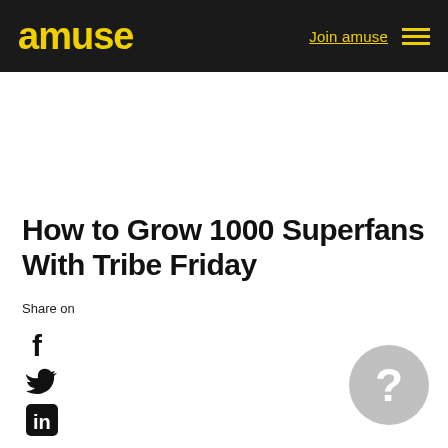amuse | Join amuse
How to Grow 1000 Superfans With Tribe Friday
Share on
[Figure (illustration): Facebook icon (f logo), Twitter bird icon, and LinkedIn 'in' icon as social share buttons stacked vertically]
[Figure (illustration): Gray circle with white question mark, positioned bottom right]